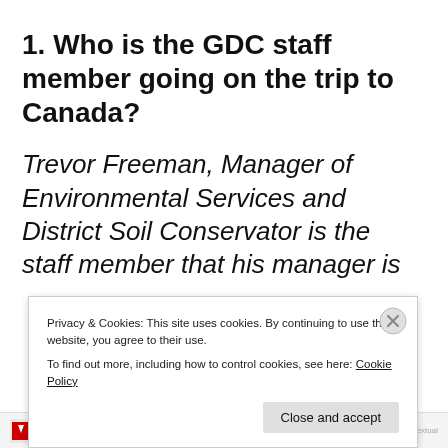1. Who is the GDC staff member going on the trip to Canada?
Trevor Freeman, Manager of Environmental Services and District Soil Conservator is the staff member that his manager is recommending for the trip. Trevor...
Privacy & Cookies: This site uses cookies. By continuing to use this website, you agree to their use. To find out more, including how to control cookies, see here: Cookie Policy